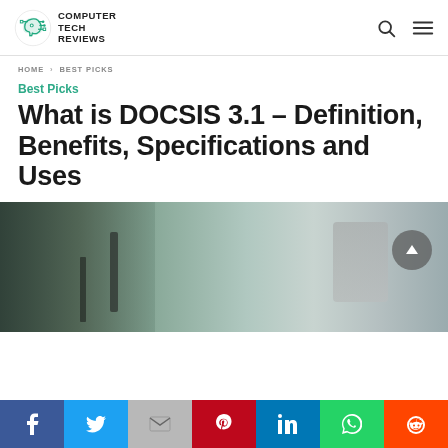COMPUTER TECH REVIEWS
HOME > BEST PICKS
Best Picks
What is DOCSIS 3.1 – Definition, Benefits, Specifications and Uses
[Figure (photo): Blurred background photo of a laptop and smartphone on a desk, with a scroll-to-top button overlay]
[Figure (infographic): Social sharing bar with Facebook, Twitter, Gmail, Pinterest, LinkedIn, WhatsApp, and Reddit buttons]